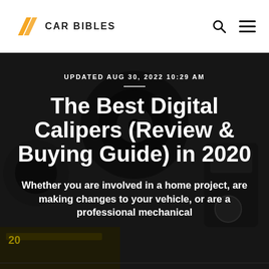CAR BIBLES
[Figure (photo): Close-up dark photograph of automotive calipers/brake components, dark industrial background]
UPDATED AUG 30, 2022 10:29 AM
The Best Digital Calipers (Review & Buying Guide) in 2020
Whether you are involved in a home project, are making changes to your vehicle, or are a professional mechanical